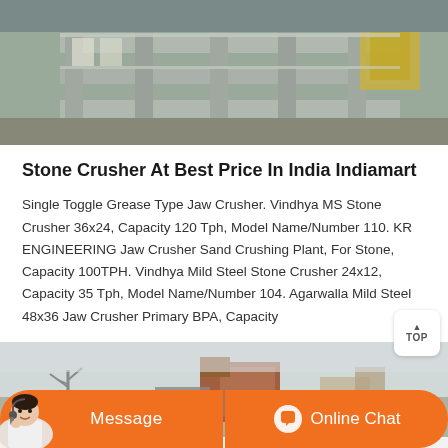[Figure (photo): Aerial/side view of a construction site with concrete pillars, horizontal slabs, rubble on the ground, and a yellow crane or machine on the right side.]
Stone Crusher At Best Price In India Indiamart
Single Toggle Grease Type Jaw Crusher. Vindhya MS Stone Crusher 36x24, Capacity 120 Tph, Model Name/Number 110. KR ENGINEERING Jaw Crusher Sand Crushing Plant, For Stone, Capacity 100TPH. Vindhya Mild Steel Stone Crusher 24x12, Capacity 35 Tph, Model Name/Number 104. Agarwalla Mild Steel 48x36 Jaw Crusher Primary BPA, Capacity
[Figure (photo): Outdoor photo of a quarry or stone crushing site with a bare tree on the left, reddish brick crusher building in the center, conveyor machinery, and distant structures in background.]